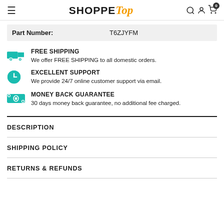SHOPPETop
| Part Number: | T6ZJYFM |
| --- | --- |
FREE SHIPPING
We offer FREE SHIPPING to all domestic orders.
EXCELLENT SUPPORT
We provide 24/7 online customer support via email.
MONEY BACK GUARANTEE
30 days money back guarantee, no additional fee charged.
DESCRIPTION
SHIPPING POLICY
RETURNS & REFUNDS